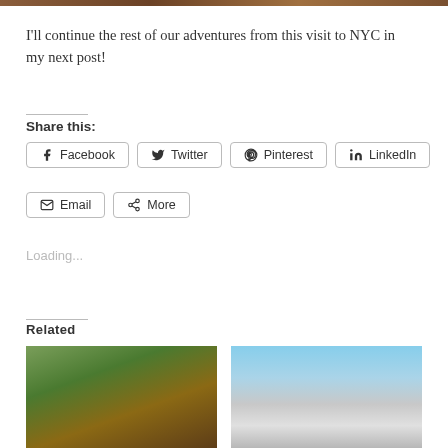[Figure (photo): Top strip of a photo visible at the top of the page]
I'll continue the rest of our adventures from this visit to NYC in my next post!
Share this:
Facebook  Twitter  Pinterest  LinkedIn  Email  More
Loading...
Related
[Figure (photo): Photo of a building with trees and fire escapes, NYC street scene]
[Figure (photo): Photo of tall modern skyscrapers against a blue sky]